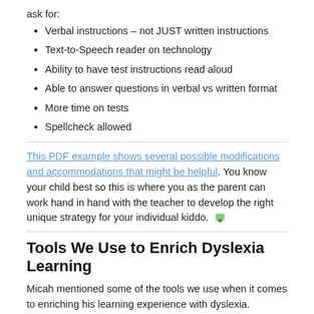ask for:
Verbal instructions – not JUST written instructions
Text-to-Speech reader on technology
Ability to have test instructions read aloud
Able to answer questions in verbal vs written format
More time on tests
Spellcheck allowed
This PDF example shows several possible modifications and accommodations that might be helpful. You know your child best so this is where you as the parent can work hand in hand with the teacher to develop the right unique strategy for your individual kiddo.
Tools We Use to Enrich Dyslexia Learning
Micah mentioned some of the tools we use when it comes to enriching his learning experience with dyslexia.